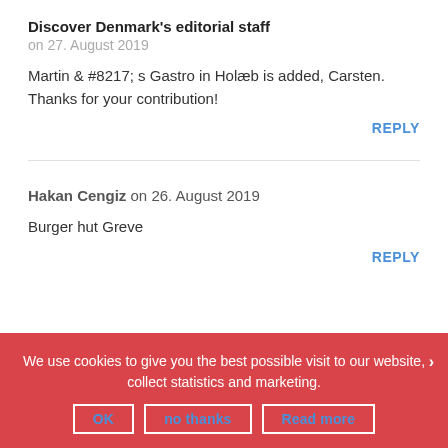Discover Denmark's editorial staff
on 27. August 2019
Martin & #8217; s Gastro in Holæb is added, Carsten. Thanks for your contribution!
REPLY
Hakan Cengiz on 26. August 2019
Burger hut Greve
REPLY
We use cookies to give you the best possible visit to our website, collect statistics and marketing.
OK | no thanks | Read more